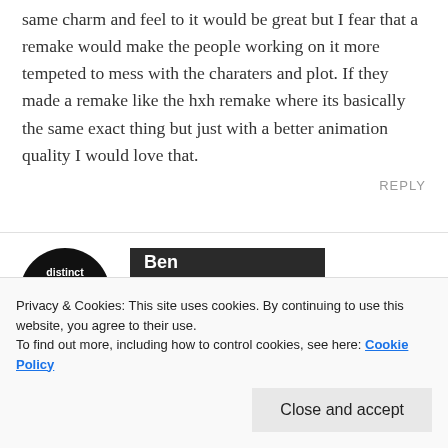same charm and feel to it would be great but I fear that a remake would make the people working on it more tempeted to mess with the charaters and plot. If they made a remake like the hxh remake where its basically the same exact thing but just with a better animation quality I would love that.
REPLY
[Figure (logo): Circular black logo with white text reading 'distinct chatter' and smaller subtitle text]
Ben
DECEMBER 23, 2018 AT 8:47 PM
Privacy & Cookies: This site uses cookies. By continuing to use this website, you agree to their use. To find out more, including how to control cookies, see here: Cookie Policy
Close and accept